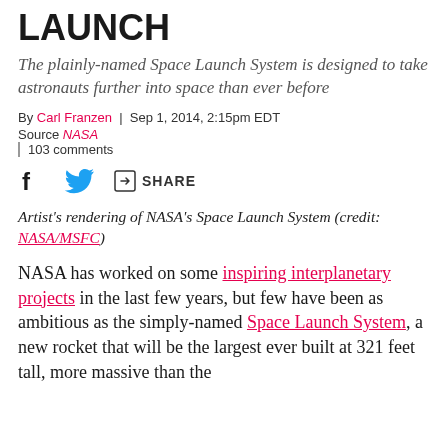LAUNCH
The plainly-named Space Launch System is designed to take astronauts further into space than ever before
By Carl Franzen | Sep 1, 2014, 2:15pm EDT
Source NASA | 103 comments
[Figure (other): Social share bar with Facebook, Twitter, and share icons]
Artist's rendering of NASA's Space Launch System (credit: NASA/MSFC)
NASA has worked on some inspiring interplanetary projects in the last few years, but few have been as ambitious as the simply-named Space Launch System, a new rocket that will be the largest ever built at 321 feet tall...